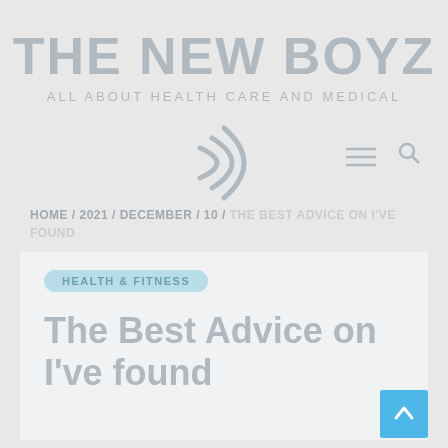THE NEW BOYZ
ALL ABOUT HEALTH CARE AND MEDICAL
[Figure (logo): Circular arc logo mark with two curved lines forming a partial circle, shown in gray]
HOME / 2021 / DECEMBER / 10 / THE BEST ADVICE ON I'VE FOUND
HEALTH & FITNESS
The Best Advice on I've found